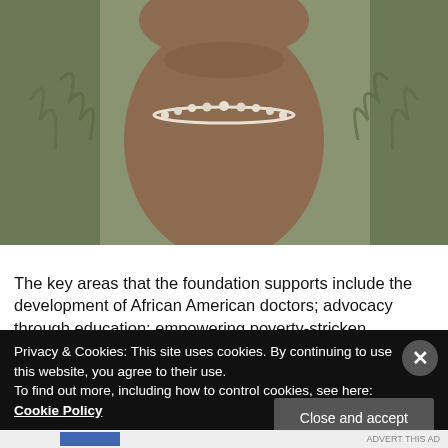[Figure (photo): Close-up photograph of a person wearing a green/olive ruffled top and a pearl necklace, cropped to show neck and chest area only.]
The key areas that the foundation supports include the development of African American doctors; advocacy through education; empowering poverty-stricken
Privacy & Cookies: This site uses cookies. By continuing to use this website, you agree to their use.
To find out more, including how to control cookies, see here: Cookie Policy
Close and accept